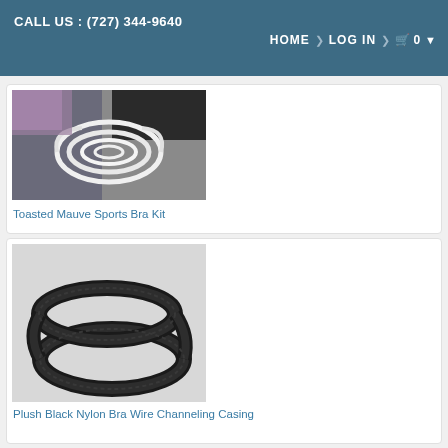CALL US : (727) 344-9640 | HOME > LOG IN > 0
[Figure (photo): Coiled white bra wire or elastic cord on a gray background with dark fabric]
Toasted Mauve Sports Bra Kit
[Figure (photo): Black nylon bra wire channeling casing coiled loops on white background]
Plush Black Nylon Bra Wire Channeling Casing